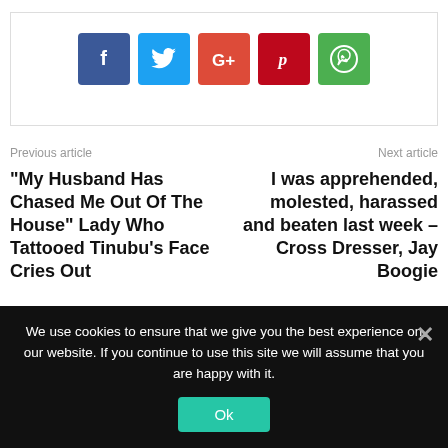[Figure (other): Social media share buttons: Facebook (blue), Twitter (light blue), Google+ (orange-red), Pinterest (dark red), WhatsApp (green)]
Previous article
Next article
“My Husband Has Chased Me Out Of The House” Lady Who Tattooed Tinubu’s Face Cries Out
I was apprehended, molested, harassed and beaten last week – Cross Dresser, Jay Boogie
We use cookies to ensure that we give you the best experience on our website. If you continue to use this site we will assume that you are happy with it.